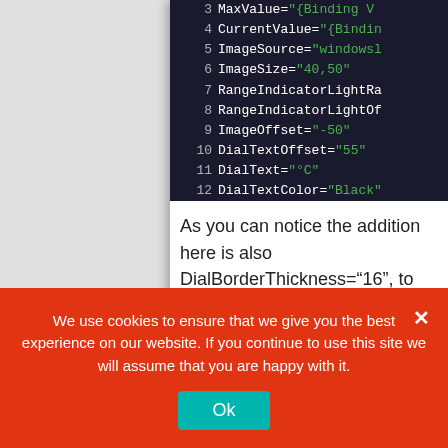[Figure (screenshot): Code editor screenshot showing XML/XAML lines 3-12 with line numbers on dark background. Lines show properties like MaxValue, CurrentValue, ImageSource, ImageSize, RangeIndicatorLightRa, RangeIndicatorLightOf, ImageOffset, DialTextOffset, DialText, DialTextColor with green string values.]
As you can notice the addition here is also DialBorderThickness="16", to customize the appearance of the border when you use a little gauge.
To change the scaling just set the new MaxValue and call the RefreshScale()
We use cookies to ensure that we give you the best experience on our website. If you continue to use this site we will assume that you are happy with it.